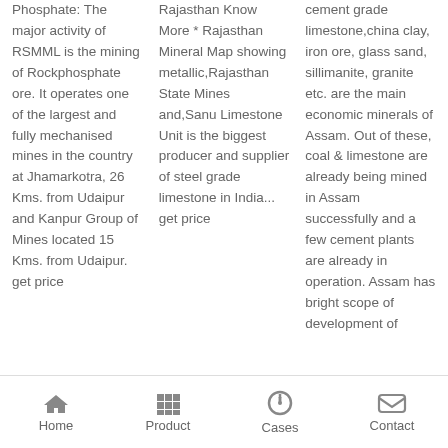Phosphate: The major activity of RSMML is the mining of Rockphosphate ore. It operates one of the largest and fully mechanised mines in the country at Jhamarkotra, 26 Kms. from Udaipur and Kanpur Group of Mines located 15 Kms. from Udaipur. get price
Rajasthan Know More * Rajasthan Mineral Map showing metallic,Rajasthan State Mines and,Sanu Limestone Unit is the biggest producer and supplier of steel grade limestone in India... get price
cement grade limestone,china clay, iron ore, glass sand, sillimanite, granite etc. are the main economic minerals of Assam. Out of these, coal & limestone are already being mined in Assam successfully and a few cement plants are already in operation. Assam has bright scope of development of
Home  Product  Cases  Contact